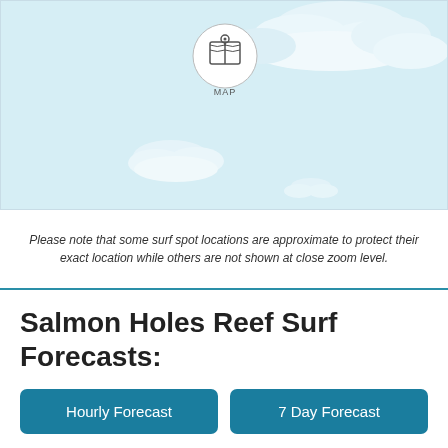[Figure (map): A light blue map section showing ocean/coastal area with cloud shapes and a circular MAP icon in the center top area.]
Please note that some surf spot locations are approximate to protect their exact location while others are not shown at close zoom level.
Salmon Holes Reef Surf Forecasts:
Hourly Forecast
7 Day Forecast